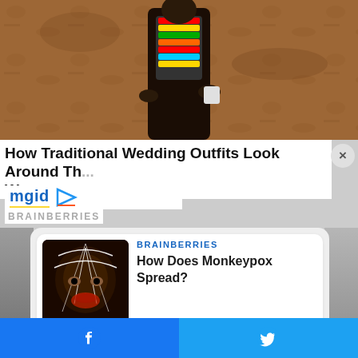[Figure (photo): Traditional wedding outfit photo — person in colorful beaded attire against a mud wall background]
How Traditional Wedding Outfits Look Around The World
[Figure (logo): mgid logo with play button icon]
BRAINBERRIES
[Figure (photo): Monkeypox related artistic/medical image — dark face with white line patterns]
BRAINBERRIES
How Does Monkeypox Spread?
[Figure (photo): Before and after keto diet photos — two male figures side by side]
HERBEAUTY
Think Keto Has Helped Me? No, This Was The Worst Diet I've Tried
Facebook share | Twitter share